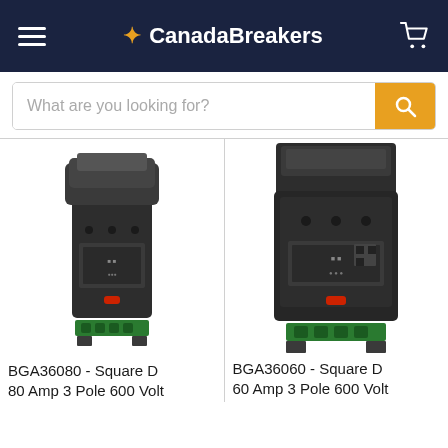CanadaBreakers
What are you looking for?
[Figure (photo): Photo of BGA36080 Square D 80 Amp 3 Pole 600 Volt circuit breaker with green terminal block]
BGA36080 - Square D 80 Amp 3 Pole 600 Volt
[Figure (photo): Photo of BGA36060 Square D 60 Amp 3 Pole 600 Volt circuit breaker with green terminal block]
BGA36060 - Square D 60 Amp 3 Pole 600 Volt